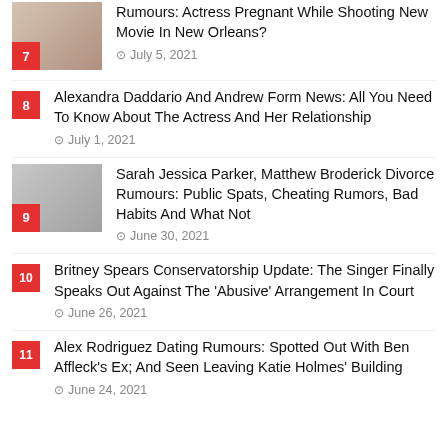Rumours: Actress Pregnant While Shooting New Movie In New Orleans?
Alexandra Daddario And Andrew Form News: All You Need To Know About The Actress And Her Relationship
Sarah Jessica Parker, Matthew Broderick Divorce Rumours: Public Spats, Cheating Rumors, Bad Habits And What Not
Britney Spears Conservatorship Update: The Singer Finally Speaks Out Against The 'Abusive' Arrangement In Court
Alex Rodriguez Dating Rumours: Spotted Out With Ben Affleck's Ex; And Seen Leaving Katie Holmes' Building